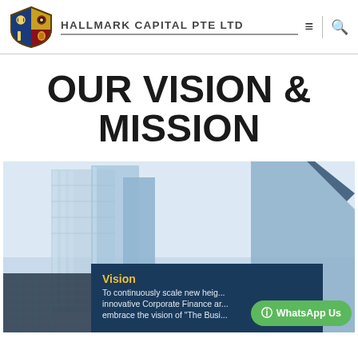HALLMARK CAPITAL PTE LTD
OUR VISION & MISSION
[Figure (photo): Photograph of glass skyscraper buildings from below, light blue tones, with a dark navy overlay card showing Vision text and a WhatsApp Us button]
Vision
To continuously scale new heights through innovative Corporate Finance and embrace the vision of "The Business..."